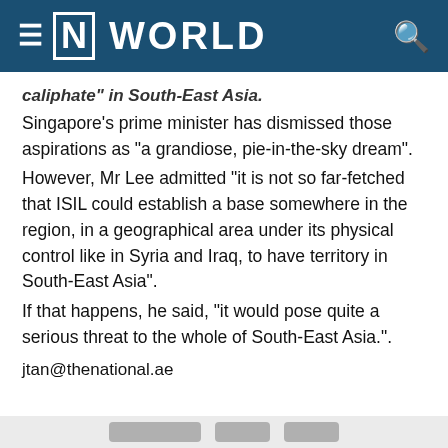[N] WORLD
...caliphate" in South-East Asia.
Singapore's prime minister has dismissed those aspirations as "a grandiose, pie-in-the-sky dream".
However, Mr Lee admitted "it is not so far-fetched that ISIL could establish a base somewhere in the region, in a geographical area under its physical control like in Syria and Iraq, to have territory in South-East Asia".
If that happens, he said, "it would pose quite a serious threat to the whole of South-East Asia.".
jtan@thenational.ae